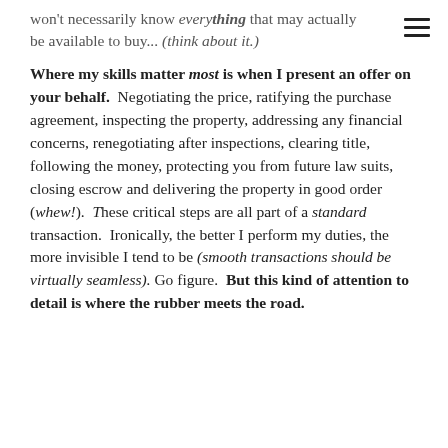won't necessarily know everything that may actually be available to buy... (think about it.)
Where my skills matter most is when I present an offer on your behalf. Negotiating the price, ratifying the purchase agreement, inspecting the property, addressing any financial concerns, renegotiating after inspections, clearing title, following the money, protecting you from future law suits, closing escrow and delivering the property in good order (whew!). These critical steps are all part of a standard transaction. Ironically, the better I perform my duties, the more invisible I tend to be (smooth transactions should be virtually seamless). Go figure. But this kind of attention to detail is where the rubber meets the road.